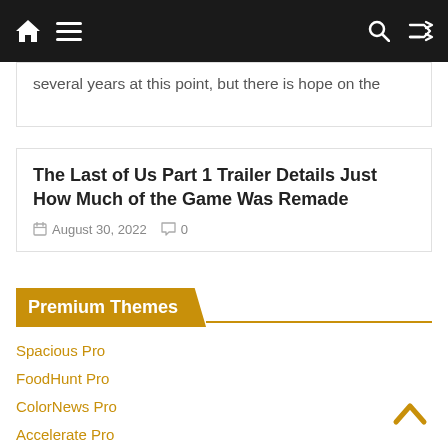Navigation bar with home, menu, search, and shuffle icons
several years at this point, but there is hope on the
The Last of Us Part 1 Trailer Details Just How Much of the Game Was Remade
August 30, 2022   0
Premium Themes
Spacious Pro
FoodHunt Pro
ColorNews Pro
Accelerate Pro
Esteem Pro
Radiate Pro